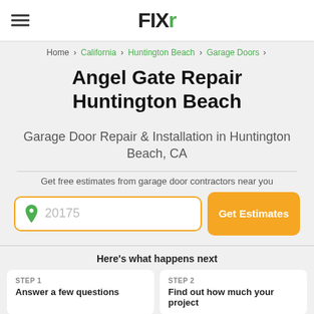FIXr
Home > California > Huntington Beach > Garage Doors >
Angel Gate Repair Huntington Beach
Garage Door Repair & Installation in Huntington Beach, CA
Get free estimates from garage door contractors near you
20175  Get Estimates
Here's what happens next
STEP 1
Answer a few questions
STEP 2
Find out how much your project